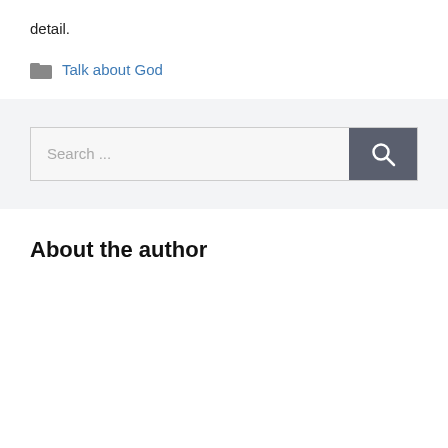detail.
Talk about God
[Figure (other): Search bar with text input field showing 'Search ...' placeholder and a dark gray search button with magnifying glass icon]
About the author